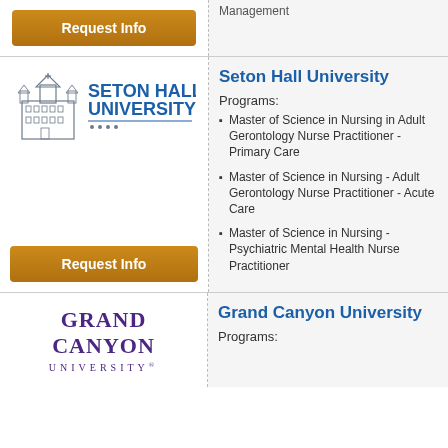Management
[Figure (other): Request Info button (orange) in top partial row]
[Figure (logo): Seton Hall University logo with building illustration and wordmark]
Seton Hall University
Programs:
Master of Science in Nursing in Adult Gerontology Nurse Practitioner - Primary Care
Master of Science in Nursing - Adult Gerontology Nurse Practitioner - Acute Care
Master of Science in Nursing - Psychiatric Mental Health Nurse Practitioner
[Figure (other): Request Info button (orange) in Seton Hall row]
[Figure (logo): Grand Canyon University logo with purple wordmark]
Grand Canyon University
Programs: